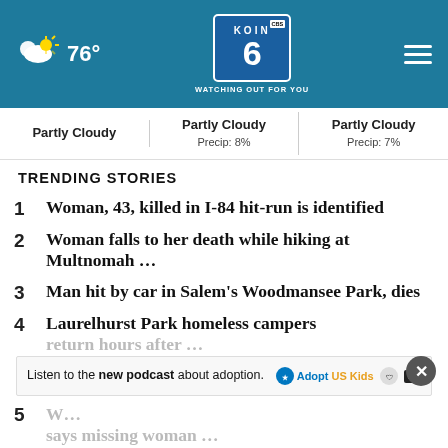76° | KOIN 6 CBS | WATCHING OUT FOR YOU
Partly Cloudy | Partly Cloudy Precip: 8% | Partly Cloudy Precip: 7%
TRENDING STORIES
1 Woman, 43, killed in I-84 hit-run is identified
2 Woman falls to her death while hiking at Multnomah …
3 Man hit by car in Salem's Woodmansee Park, dies
4 Laurelhurst Park homeless campers return hours after …
5 W… says missing woman …
Listen to the new podcast about adoption.